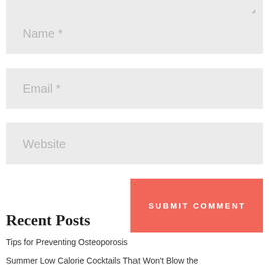[Figure (screenshot): Top portion of a textarea form field (bottom edge visible with resize handle)]
Name *
Email *
Website
SUBMIT COMMENT
Recent Posts
Tips for Preventing Osteoporosis
Summer Low Calorie Cocktails That Won't Blow the